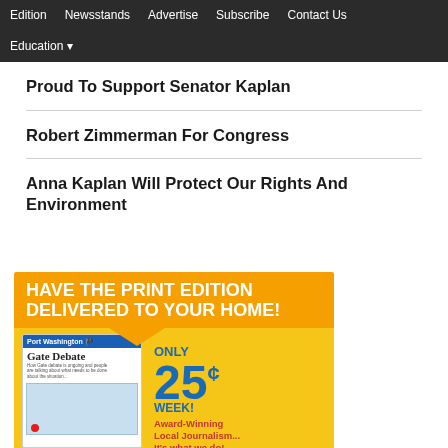Edition | Newsstands | Advertise | Subscribe | Contact Us | Education
Proud To Support Senator Kaplan
Robert Zimmerman For Congress
Anna Kaplan Will Protect Our Rights And Environment
[Figure (illustration): Newspaper subscription advertisement: orange and yellow background with bold white text 'HAVE THE PRINT EDITION DELIVERED TO YOUR HOME!' and blue text 'ONLY 25¢ WEEK! Award-Winning Local Journalism... It's what we do!' alongside an image of a Port Washington newspaper with Gate Debate headline and a map.]